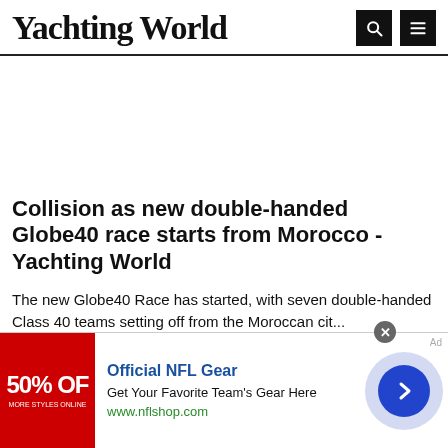Yachting World
Collision as new double-handed Globe40 race starts from Morocco - Yachting World
The new Globe40 Race has started, with seven double-handed Class 40 teams setting off from the Moroccan cit...
Yachting World
[Figure (infographic): Advertisement banner: Official NFL Gear - Get Your Favorite Team's Gear Here, www.nflshop.com, with red 50% OFF badge and navigation arrow button]